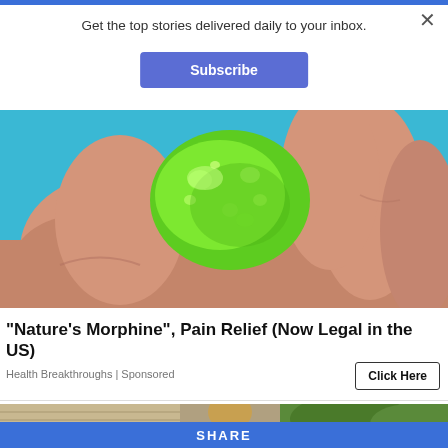Get the top stories delivered daily to your inbox.
Subscribe
[Figure (photo): Close-up photo of a hand holding a green gummy candy against a blue background]
"Nature's Morphine", Pain Relief (Now Legal in the US)
Health Breakthroughs | Sponsored
Click Here
[Figure (photo): Partial photo of a person outdoors near a building with trees]
SHARE